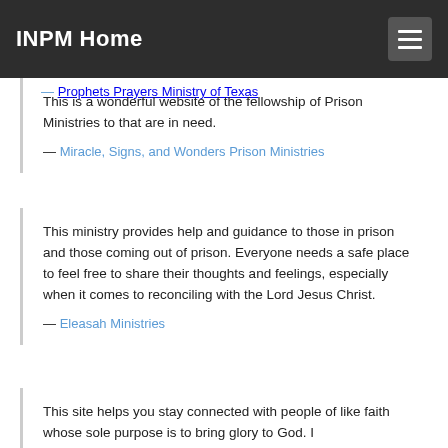INPM Home
— Prophets Prayers Ministry of Texas
This is a wonderful website of the fellowship of Prison Ministries to that are in need.
— Miracle, Signs, and Wonders Prison Ministries
This ministry provides help and guidance to those in prison and those coming out of prison. Everyone needs a safe place to feel free to share their thoughts and feelings, especially when it comes to reconciling with the Lord Jesus Christ.
— Eleasah Ministries
This site helps you stay connected with people of like faith whose sole purpose is to bring glory to God. I